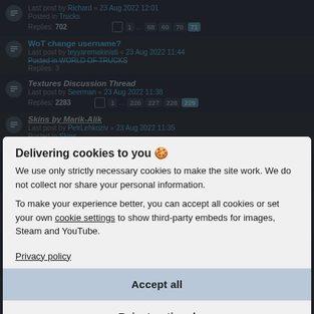Last post by Richard « 23 Aug 2022 12:01
Posted in Trucks
Replies: 702
WoT change username?
Last post by teyyaremakinisti « 23 Aug 2022 11:44
Posted in WORLD OF TRUCKS
Replies: 3
Textures Discussion Thread
Last post by Seerman « 23 Aug 2022 11:38
Replies: 2283
Skins by Marik-Alik
Last post by PetrLehkoziv « 23 Aug 2022 11:35
Posted in Skins
Replies: 210
Textes Discussion Thread
Posted in General discussion about the game
Replies: 4830
Screenshots by Knox_xs5
Last post by Hakan « 23 Aug 2022 11:12
Posted in Screenshots
Replies: 501
Problems with a Map Catalog
Last post by Wolfeye « 23 Aug 2022 11:11
Posted in Help center - player to player
Replies: 2
Timmjimm_s Screenslots
Last post by Hakan « 23 Aug 2022 11:12
Posted in Screenshots
Replies: 9
Mercedes 1632 NG 1.44 Update 1.6.1 by DigiT X and more
[Figure (screenshot): Cookie consent modal overlay on a forum page. Modal title: 'Delivering cookies to you'. Body text explains only strictly necessary cookies are used and no personal info is shared. Options to accept all or reject optional cookies. Privacy policy link shown.]